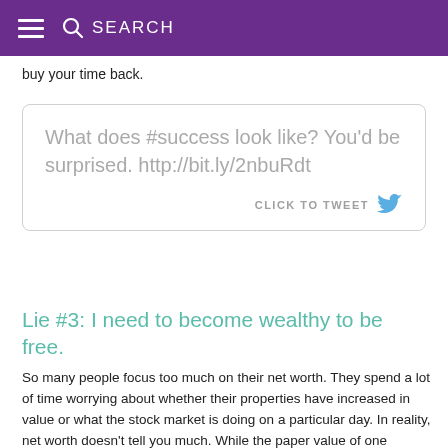SEARCH
buy your time back.
[Figure (screenshot): Tweet call-to-action box with text: What does #success look like? You'd be surprised. http://bit.ly/2nbuRdt — with a CLICK TO TWEET button and Twitter bird icon]
Lie #3: I need to become wealthy to be free.
So many people focus too much on their net worth. They spend a lot of time worrying about whether their properties have increased in value or what the stock market is doing on a particular day. In reality, net worth doesn't tell you much. While the paper value of one person's assets might have increased, you can't take your assets to the shops and buy